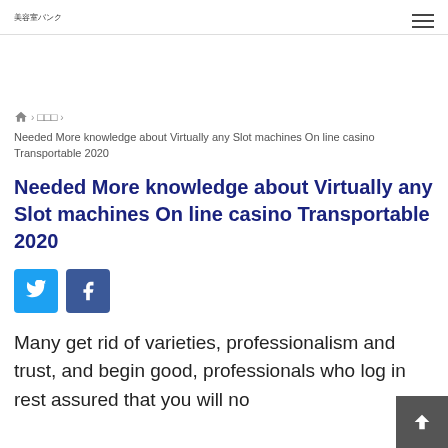美容室バンク
🏠 > □□□ > Needed More knowledge about Virtually any Slot machines On line casino Transportable 2020
Needed More knowledge about Virtually any Slot machines On line casino Transportable 2020
[Figure (other): Twitter and Facebook social share buttons]
Many get rid of varieties, professionalism and trust, and begin good, professionals who log in rest assured that you will no